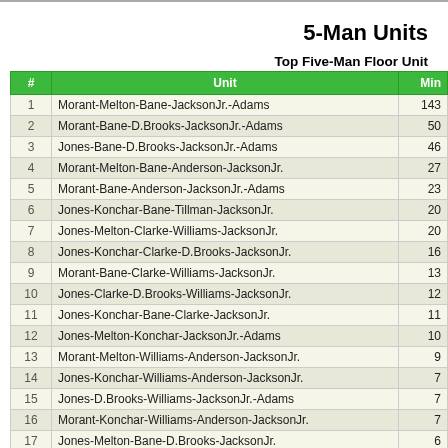5-Man Units
Top Five-Man Floor Units
| # | Unit | Min |
| --- | --- | --- |
| 1 | Morant-Melton-Bane-JacksonJr.-Adams | 143 |
| 2 | Morant-Bane-D.Brooks-JacksonJr.-Adams | 50 |
| 3 | Jones-Bane-D.Brooks-JacksonJr.-Adams | 46 |
| 4 | Morant-Melton-Bane-Anderson-JacksonJr. | 27 |
| 5 | Morant-Bane-Anderson-JacksonJr.-Adams | 23 |
| 6 | Jones-Konchar-Bane-Tillman-JacksonJr. | 20 |
| 7 | Jones-Melton-Clarke-Williams-JacksonJr. | 20 |
| 8 | Jones-Konchar-Clarke-D.Brooks-JacksonJr. | 16 |
| 9 | Morant-Bane-Clarke-Williams-JacksonJr. | 13 |
| 10 | Jones-Clarke-D.Brooks-Williams-JacksonJr. | 12 |
| 11 | Jones-Konchar-Bane-Clarke-JacksonJr. | 11 |
| 12 | Jones-Melton-Konchar-JacksonJr.-Adams | 10 |
| 13 | Morant-Melton-Williams-Anderson-JacksonJr. | 9 |
| 14 | Jones-Konchar-Williams-Anderson-JacksonJr. | 7 |
| 15 | Jones-D.Brooks-Williams-JacksonJr.-Adams | 7 |
| 16 | Morant-Konchar-Williams-Anderson-JacksonJr. | 7 |
| 17 | Jones-Melton-Bane-D.Brooks-JacksonJr. | 6 |
| 18 | Jones-Melton-Williams-Tillman-JacksonJr. | 5 |